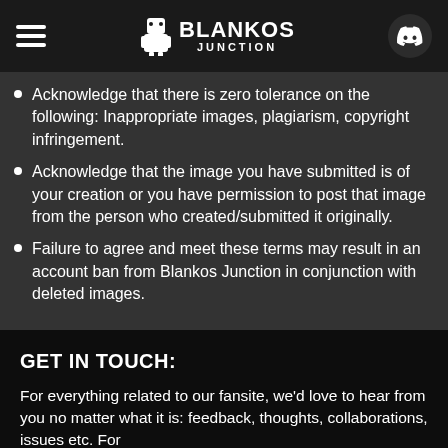Blankos Junction
Acknowledge that there is zero tolerance on the following: Inappropriate images, plagiarism, copyright infringement.
Acknowledge that the image you have submitted is of your creation or you have permission to post that image from the person who created/submitted it originally.
Failure to agree and meet these terms may result in an account ban from Blankos Junction in conjunction with deleted images.
GET IN TOUCH:
For everything related to our fansite, we'd love to hear from you no matter what it is: feedback, thoughts, collaborations, issues etc. For